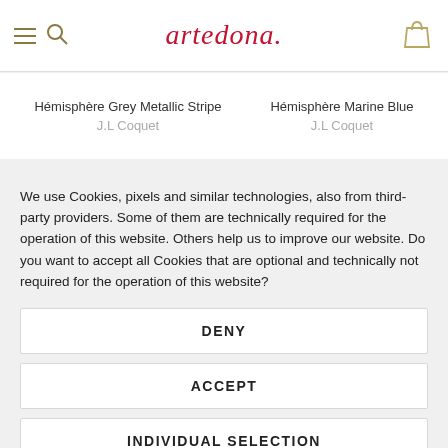artedona.
Hémisphère Grey Metallic Stripe
J.L Coquet
Hémisphère Marine Blue
J.L Coquet
We use Cookies, pixels and similar technologies, also from third-party providers. Some of them are technically required for the operation of this website. Others help us to improve our website. Do you want to accept all Cookies that are optional and technically not required for the operation of this website?
DENY
ACCEPT
INDIVIDUAL SELECTION